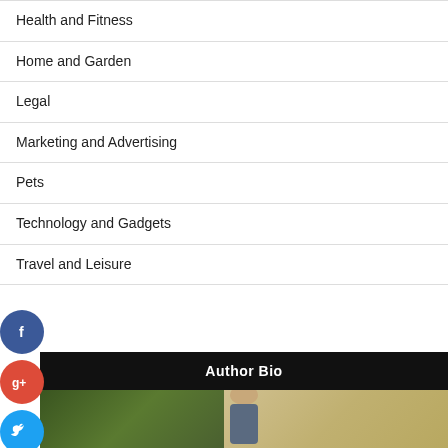Health and Fitness
Home and Garden
Legal
Marketing and Advertising
Pets
Technology and Gadgets
Travel and Leisure
[Figure (infographic): Social media share buttons: Facebook (blue), Google+ (red), Twitter (light blue), Add/Plus (dark blue)]
Author Bio
[Figure (photo): Author photo showing a man standing outdoors near greenery and a building entrance]